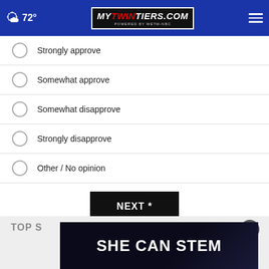72° mytwintiers.com
Strongly approve
Somewhat approve
Somewhat disapprove
Strongly disapprove
Other / No opinion
NEXT *
* By clicking "NEXT" you agree to the following: We use cookies to track your survey answers. If you would like to continue with this survey, please read and agree to the CivicScience Privacy Policy and Terms of Service
TOP S
[Figure (other): SHE CAN STEM advertisement banner]